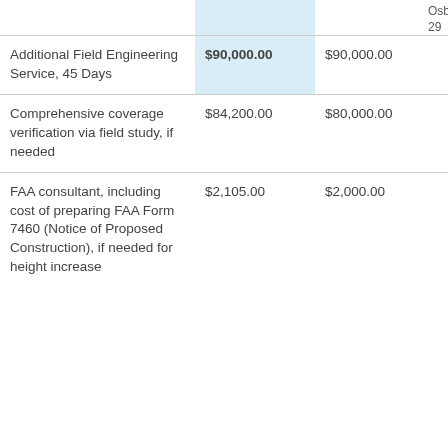|  |  |  | Osb 29 |
| --- | --- | --- | --- |
| Additional Field Engineering Service, 45 Days | $90,000.00 | $90,000.00 |  |
| Comprehensive coverage verification via field study, if needed | $84,200.00 | $80,000.00 |  |
| FAA consultant, including cost of preparing FAA Form 7460 (Notice of Proposed Construction), if needed for height increase | $2,105.00 | $2,000.00 |  |